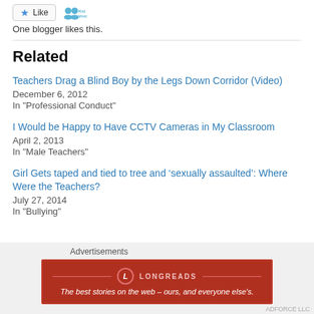[Figure (other): Like button with star icon and KidVoice icon]
One blogger likes this.
Related
Teachers Drag a Blind Boy by the Legs Down Corridor (Video)
December 6, 2012
In "Professional Conduct"
I Would be Happy to Have CCTV Cameras in My Classroom
April 2, 2013
In "Male Teachers"
Girl Gets taped and tied to tree and ‘sexually assaulted’: Where Were the Teachers?
July 27, 2014
In "Bullying"
Advertisements
[Figure (other): Longreads advertisement banner: The best stories on the web – ours, and everyone else’s.]